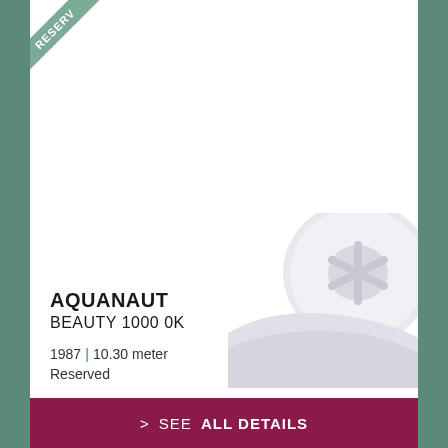[Figure (illustration): Corner ribbon banner with text 'RESERVED' in white on teal/sage green background, rotated diagonally in top-left corner]
[Figure (photo): Partial view of a white boat hull/stern showing a white helm or wheel element, cropped in bottom-right of the card]
AQUANAUT
BEAUTY 1000 0K
1987 | 10.30 meter
Reserved
> SEE ALL DETAILS